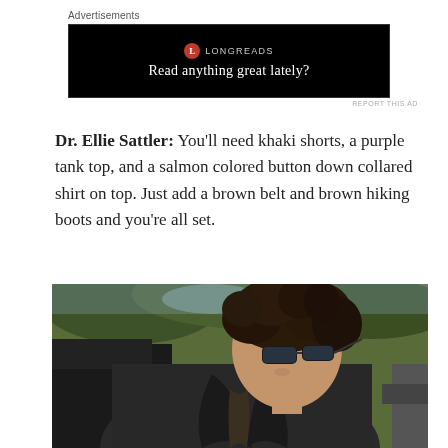Advertisements
[Figure (screenshot): Longreads advertisement banner on black background with text 'Read anything great lately?']
Dr. Ellie Sattler: You'll need khaki shorts, a purple tank top, and a salmon colored button down collared shirt on top. Just add a brown belt and brown hiking boots and you're all set.
[Figure (photo): A man with curly dark hair wearing sunglasses and a dark blazer/jacket, leaning forward, outdoors with green trees in the background.]